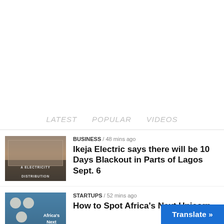LATEST   POPULAR   VIDEOS
[Figure (photo): Building facade with sign reading 'A ELECTRICITY DISTRIBUTION']
BUSINESS / 48 mins ago
Ikeja Electric says there will be 10 Days Blackout in Parts of Lagos Sept. 6
[Figure (photo): Blue background image with text Africa's Next Unicorn and circular cookie/badge icons]
STARTUPS / 52 mins ago
How to Spot Africa's Next Unicorn
Translate »